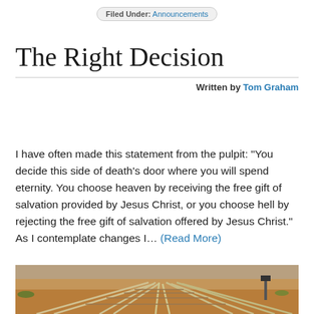Filed Under: Announcements
The Right Decision
Written by Tom Graham
I have often made this statement from the pulpit: “You decide this side of death’s door where you will spend eternity. You choose heaven by receiving the free gift of salvation provided by Jesus Christ, or you choose hell by rejecting the free gift of salvation offered by Jesus Christ.” As I contemplate changes I… (Read More)
[Figure (photo): Aerial or ground-level view of multiple railway tracks intersecting and diverging in a complex junction, set against dry, earthy terrain.]